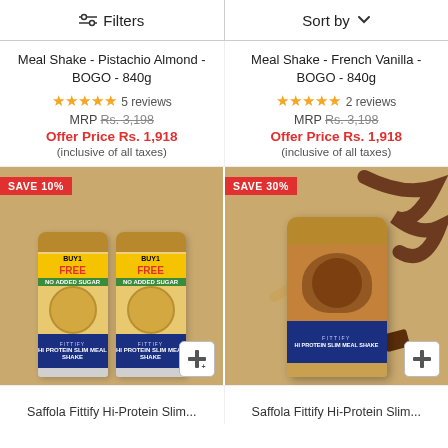Filters | Sort by
Meal Shake - Pistachio Almond - BOGO - 840g
★★★★★ 5 reviews
MRP Rs. 3,198
Offer Price Rs. 1,918
(inclusive of all taxes)
Meal Shake - French Vanilla - BOGO - 840g
★★★★★ 2 reviews
MRP Rs. 3,198
Offer Price Rs. 1,918
(inclusive of all taxes)
[Figure (photo): Two FITTIFY Meal Shake Pistachio Almond BOGO 840g product cans with 'BUY 1 FREE' and 'NO ADDED SUGAR' labels, SAVE 10% badge]
[Figure (photo): Single FITTIFY Hi-Protein Slim Meal Shake chocolate flavor product can with chocolate splash decoration, SAVE 30% badge]
Saffola Fittify Hi-Protein Slim...
Saffola Fittify Hi-Protein Slim...